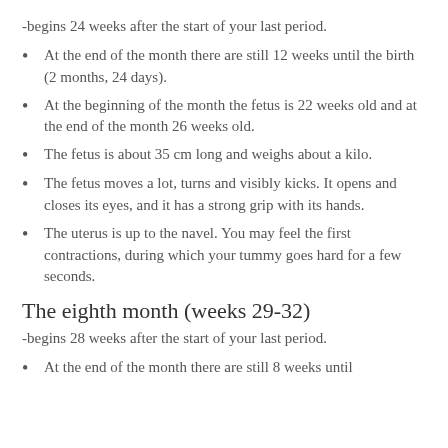-begins 24 weeks after the start of your last period.
At the end of the month there are still 12 weeks until the birth (2 months, 24 days).
At the beginning of the month the fetus is 22 weeks old and at the end of the month 26 weeks old.
The fetus is about 35 cm long and weighs about a kilo.
The fetus moves a lot, turns and visibly kicks. It opens and closes its eyes, and it has a strong grip with its hands.
The uterus is up to the navel. You may feel the first contractions, during which your tummy goes hard for a few seconds.
The eighth month (weeks 29-32)
-begins 28 weeks after the start of your last period.
At the end of the month there are still 8 weeks until